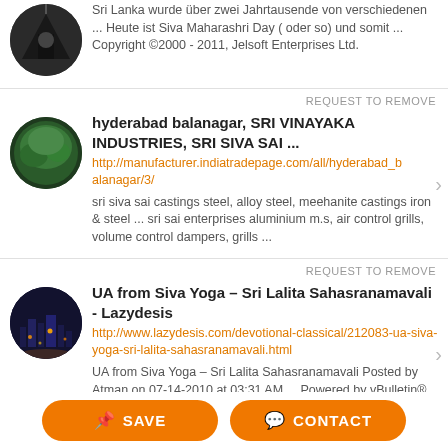Sri Lanka wurde über zwei Jahrtausende von verschiedenen ... Heute ist Siva Maharashri Day ( oder so) und somit ... Copyright ©2000 - 2011, Jelsoft Enterprises Ltd.
REQUEST TO REMOVE
hyderabad balanagar, SRI VINAYAKA INDUSTRIES, SRI SIVA SAI ...
http://manufacturer.indiatradepage.com/all/hyderabad_balanagar/3/
sri siva sai castings steel, alloy steel, meehanite castings iron & steel ... sri sai enterprises aluminium m.s, air control grills, volume control dampers, grills ...
REQUEST TO REMOVE
UA from Siva Yoga – Sri Lalita Sahasranamavali - Lazydesis
http://www.lazydesis.com/devotional-classical/212083-ua-siva-yoga-sri-lalita-sahasranamavali.html
UA from Siva Yoga – Sri Lalita Sahasranamavali Posted by Atman on 07-14-2010 at 03:31 AM ... Powered by vBulletin® Copyright ©2000 - 2011, Jelsoft Enterprises Ltd.
REQUEST TO REMOVE